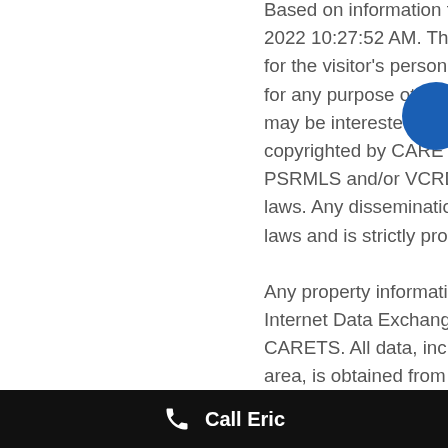Based on information from CARETS as of Thursday, August 18th, 2022 10:27:52 AM. The information being provided by CARETS is for the visitor's personal, noncommercial use and may not be used for any purpose other than to identify prospective properties visitor may be interested in purchasing. The data contained herein is copyrighted by CARETS, CLAW, CRISNet MLS, i-Tech MLS, PSRMLS and/or VCRDS and is protected by all applicable copyright laws. Any dissemination of this information is in violation of copyright laws and is strictly prohibited.

Any property information referenced on this website comes from the Internet Data Exchange (IDX) program of CRISNet MLS and/or CARETS. All data, including all measurements and calculations of area, is obtained from various sources and has not been, and will not be, verified by broker or MLS. All information should be independently reviewed and verified.
Call Eric